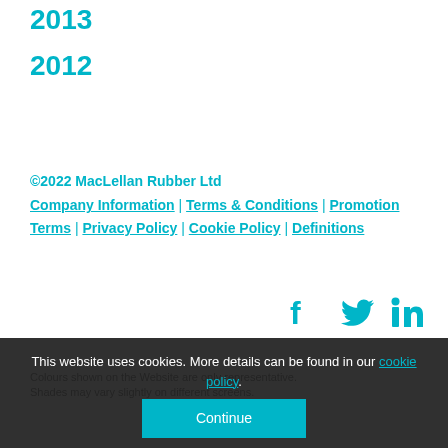2013
2012
©2022 MacLellan Rubber Ltd
Company Information | Terms & Conditions | Promotion Terms | Privacy Policy | Cookie Policy | Definitions
[Figure (infographic): Social media icons: Facebook, Twitter, LinkedIn in teal color]
Colours shown on the Website are only representative.
Shades may vary slightly on different screens.
This website uses cookies. More details can be found in our cookie policy. Continue